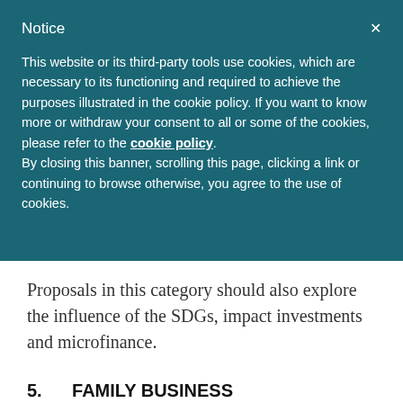Notice
This website or its third-party tools use cookies, which are necessary to its functioning and required to achieve the purposes illustrated in the cookie policy. If you want to know more or withdraw your consent to all or some of the cookies, please refer to the cookie policy.
By closing this banner, scrolling this page, clicking a link or continuing to browse otherwise, you agree to the use of cookies.
Proposals in this category should also explore the influence of the SDGs, impact investments and microfinance.
5.    FAMILY BUSINESS
Session Format: Panel presentations of 2 to 4